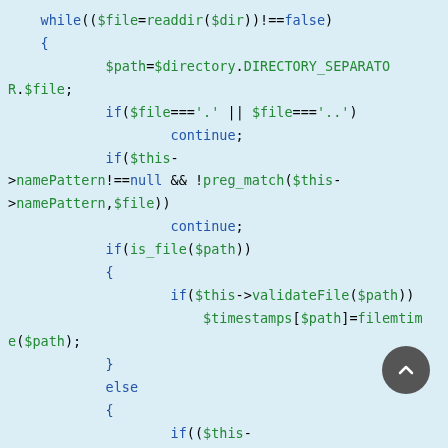[Figure (screenshot): PHP code snippet showing a while loop reading directory contents, checking file names, validating files and recursing into subdirectories. Code is syntax-highlighted with keywords in dark blue and identifiers/strings in green on a light blue background.]